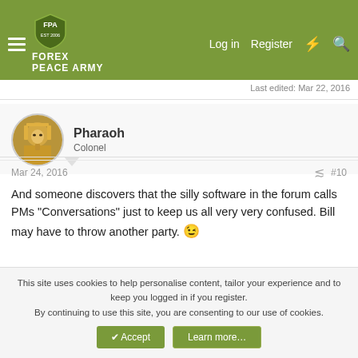FOREX PEACE ARMY — Log in | Register
Last edited: Mar 22, 2016
Pharaoh
Colonel
Mar 24, 2016   #10
And someone discovers that the silly software in the forum calls PMs "Conversations" just to keep us all very very confused. Bill may have to throw another party. 😉
👍 ElaineMDG
This site uses cookies to help personalise content, tailor your experience and to keep you logged in if you register.
By continuing to use this site, you are consenting to our use of cookies.